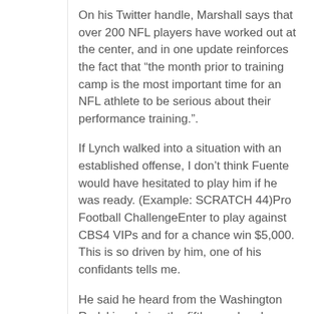On his Twitter handle, Marshall says that over 200 NFL players have worked out at the center, and in one update reinforces the fact that “the month prior to training camp is the most important time for an NFL athlete to be serious about their performance training.”.
If Lynch walked into a situation with an established offense, I don’t think Fuente would have hesitated to play him if he was ready. (Example: SCRATCH 44)Pro Football ChallengeEnter to play against CBS4 VIPs and for a chance win $5,000. This is so driven by him, one of his confidants tells me.
He said he heard from the Washington Redskins during the fifth round and was told they pick him if he was still available during the seventh but he was taken during the sixth.. It read simply: “Text 911.” “It was kind of strange,” the All Pro running back said.
The ProsIn professional sport leagues such as the National Football League, National Basketball Association, Major League Baseball and National